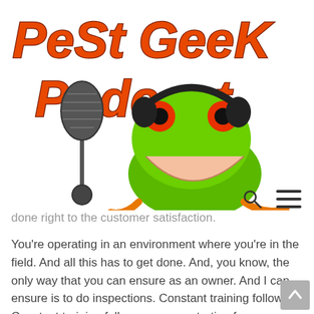[Figure (logo): Pest Geek Podcast logo with orange stylized text and a green tree frog wearing headphones at a microphone]
done right to the customer satisfaction.
You’re operating in an environment where you’re in the field. And all this has to get done. And, you know, the only way that you can ensure as an owner. And I can ensure is to do inspections. Constant training follow up. Constant training follow up, concentrating far more on this. There is no simple way around this.